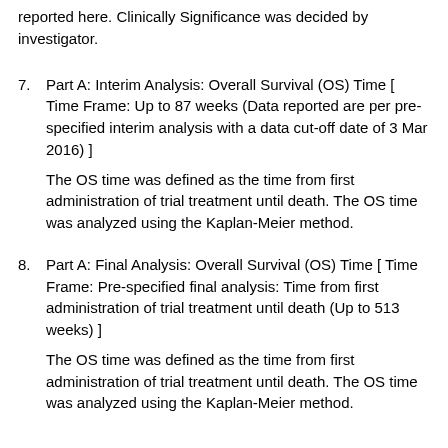reported here. Clinically Significance was decided by investigator.
7. Part A: Interim Analysis: Overall Survival (OS) Time [ Time Frame: Up to 87 weeks (Data reported are per pre-specified interim analysis with a data cut-off date of 3 Mar 2016) ]
The OS time was defined as the time from first administration of trial treatment until death. The OS time was analyzed using the Kaplan-Meier method.
8. Part A: Final Analysis: Overall Survival (OS) Time [ Time Frame: Pre-specified final analysis: Time from first administration of trial treatment until death (Up to 513 weeks) ]
The OS time was defined as the time from first administration of trial treatment until death. The OS time was analyzed using the Kaplan-Meier method.